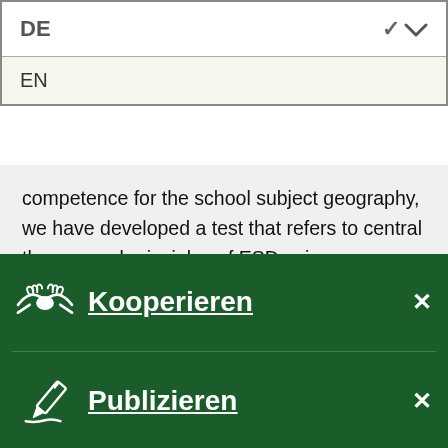[Figure (screenshot): Language dropdown selector showing 'DE' selected with chevron, and 'EN' option visible below]
competence for the school subject geography, we have developed a test that refers to central themes and principles of ESD using exclusively closed answer formats. Building on the results of cognitive laboratories and expert feedback from various fields, the instrument was (further) developed in an iterative process of feedback and revision. We conducted a quantitative pilot study with N = 366 8th and 9th grade students. The results indicate that the development of our system competence test was
Kooperieren
Publizieren